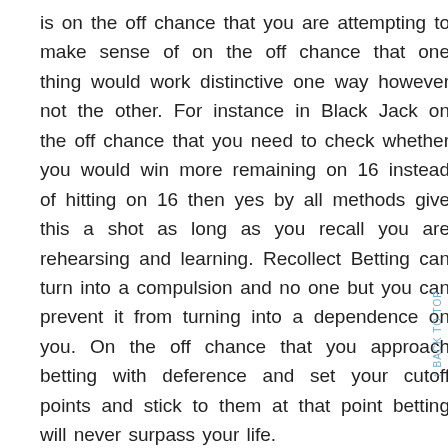is on the off chance that you are attempting to make sense of on the off chance that one thing would work distinctive one way however not the other. For instance in Black Jack on the off chance that you need to check whether you would win more remaining on 16 instead of hitting on 16 then yes by all methods give this a shot as long as you recall you are rehearsing and learning. Recollect Betting can turn into a compulsion and no one but you can prevent it from turning into a dependence on you. On the off chance that you approach betting with deference and set your cutoff points and stick to them at that point betting will never surpass your life.